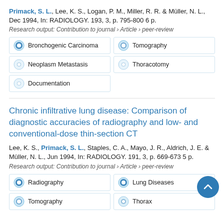Primack, S. L., Lee, K. S., Logan, P. M., Miller, R. R. & Müller, N. L., Dec 1994, In: RADIOLOGY. 193, 3, p. 795-800 6 p.
Research output: Contribution to journal › Article › peer-review
Bronchogenic Carcinoma
Tomography
Neoplasm Metastasis
Thoracotomy
Documentation
Chronic infiltrative lung disease: Comparison of diagnostic accuracies of radiography and low- and conventional-dose thin-section CT
Lee, K. S., Primack, S. L., Staples, C. A., Mayo, J. R., Aldrich, J. E. & Müller, N. L., Jun 1994, In: RADIOLOGY. 191, 3, p. 669-673 5 p.
Research output: Contribution to journal › Article › peer-review
Radiography
Lung Diseases
Tomography
Thorax